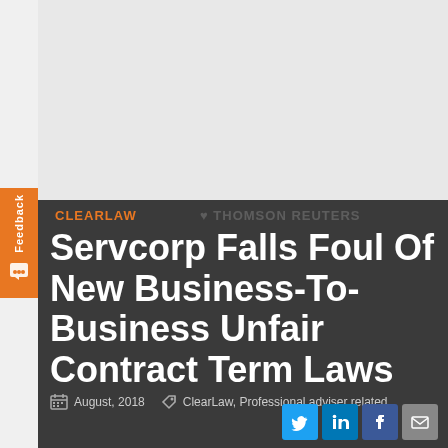[Figure (other): Grey image placeholder area at top of page]
CLEARLAW
THOMSON REUTERS
Servcorp Falls Foul Of New Business-To-Business Unfair Contract Term Laws
August, 2018   ClearLaw, Professional adviser related